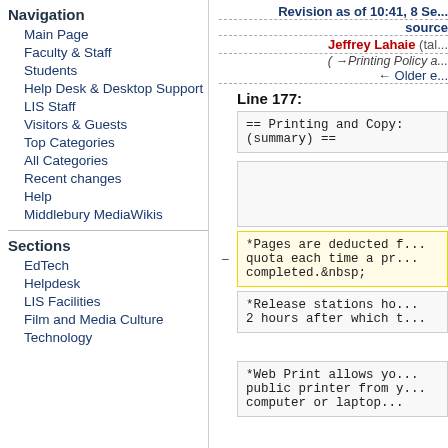Navigation
Main Page
Faculty & Staff
Students
Help Desk & Desktop Support
LIS Staff
Visitors & Guests
Top Categories
All Categories
Recent changes
Help
Middlebury MediaWikis
Sections
EdTech
Helpdesk
LIS Facilities
Film and Media Culture
Technology
Revision as of 10:41, 8 Se... source
Jeffrey Lahaie (tal...
(→Printing Policy a...
← Older e...
Line 177:
== Printing and Copy: (summary) ==
*Pages are deducted f... quota each time a pr... completed.&nbsp;
*Release stations ho... 2 hours after which t...
*Web Print allows yo... public printer from y... computer or laptop...